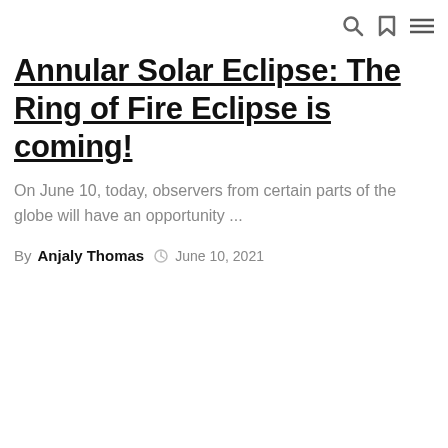[navigation icons: search, bookmark, menu]
Annular Solar Eclipse: The Ring of Fire Eclipse is coming!
On June 10, today, observers from certain parts of the globe will have an opportunity ...
By Anjaly Thomas  June 10, 2021